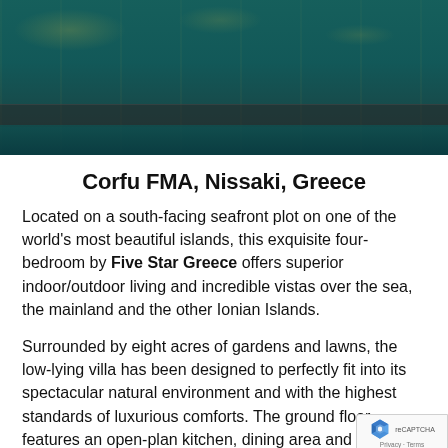[Figure (photo): Photograph of a swimming pool area with teal/green water, metal railing or fence visible, reflections of golden lights on the water surface, dark moody ambiance.]
Corfu FMA, Nissaki, Greece
Located on a south-facing seafront plot on one of the world's most beautiful islands, this exquisite four-bedroom by Five Star Greece offers superior indoor/outdoor living and incredible vistas over the sea, the mainland and the other Ionian Islands.
Surrounded by eight acres of gardens and lawns, the low-lying villa has been designed to perfectly fit into its spectacular natural environment and with the highest standards of luxurious comforts. The ground floor features an open-plan kitchen, dining area and sitting room with fireplace and TV and a separate study.